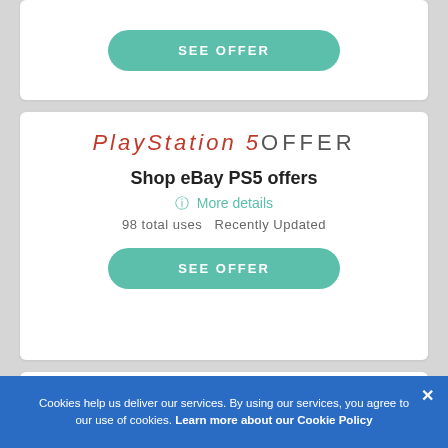[Figure (other): SEE OFFER button - teal rounded button at top of page]
PlayStation 5OFFER
Shop eBay PS5 offers
ℹ More details
98 total uses   Recently Updated
[Figure (other): SEE OFFER button - teal rounded button]
$5COUPON
$5 off eBay Motors using this coupon code
ℹ More details
229 total uses   Recently Updated
Cookies help us deliver our services. By using our services, you agree to our use of cookies. Learn more about our Cookie Policy